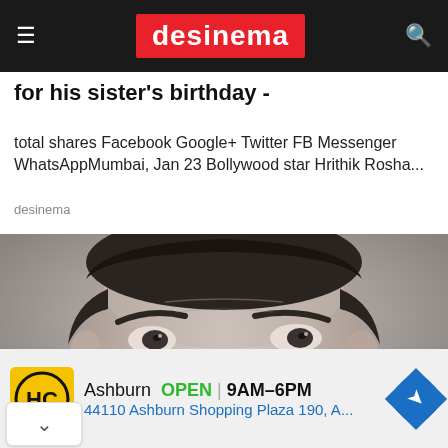desinema
for his sister's birthday -
total shares Facebook Google+ Twitter FB Messenger WhatsAppMumbai, Jan 23 Bollywood star Hrithik Rosha...
desinema
[Figure (photo): Black and white close-up portrait of a man smiling broadly, showing teeth, with dark hair slicked back.]
Ashburn  OPEN  9AM–6PM
44110 Ashburn Shopping Plaza 190, A...